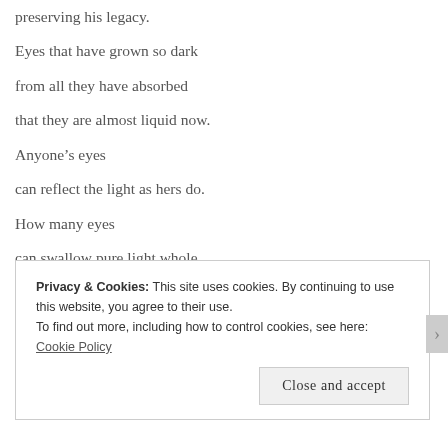preserving his legacy.
Eyes that have grown so dark
from all they have absorbed
that they are almost liquid now.
Anyone’s eyes
can reflect the light as hers do.
How many eyes
can swallow pure light whole
and still enrapture
with just a glance?
The same?  No. I still have all
Privacy & Cookies: This site uses cookies. By continuing to use this website, you agree to their use.
To find out more, including how to control cookies, see here: Cookie Policy
Close and accept